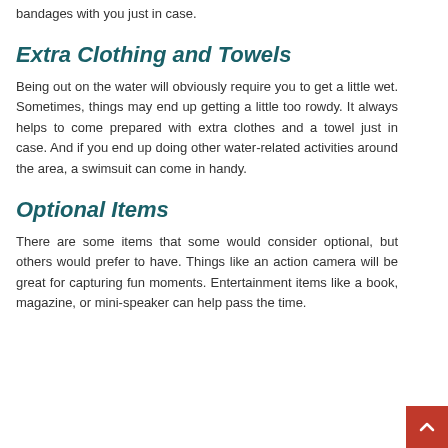bandages with you just in case.
Extra Clothing and Towels
Being out on the water will obviously require you to get a little wet. Sometimes, things may end up getting a little too rowdy. It always helps to come prepared with extra clothes and a towel just in case. And if you end up doing other water-related activities around the area, a swimsuit can come in handy.
Optional Items
There are some items that some would consider optional, but others would prefer to have. Things like an action camera will be great for capturing fun moments. Entertainment items like a book, magazine, or mini-speaker can help pass the time.